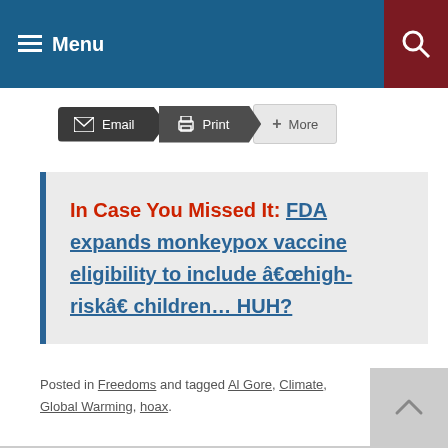Menu
[Figure (screenshot): Email, Print, and More action buttons toolbar]
In Case You Missed It:  FDA expands monkeypox vaccine eligibility to include “high-risk” children… HUH?
Posted in Freedoms and tagged Al Gore, Climate, Global Warming, hoax.